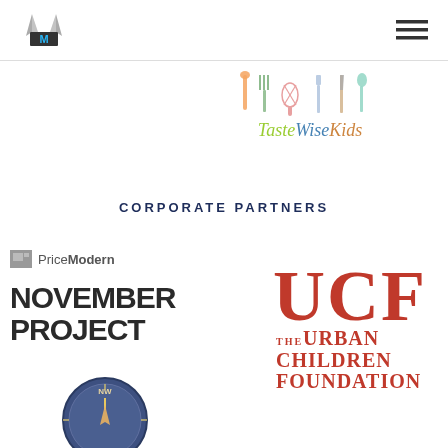Navigation bar with logo and menu icon
[Figure (logo): TasteWiseKids logo with colorful kitchen tool icons above the text]
CORPORATE PARTNERS
[Figure (logo): Price Modern / November Project logo - black bold text with gray square graphic]
[Figure (logo): UCF - The Urban Children Foundation logo in reddish-brown color]
[Figure (logo): Circular compass/badge logo at bottom left]